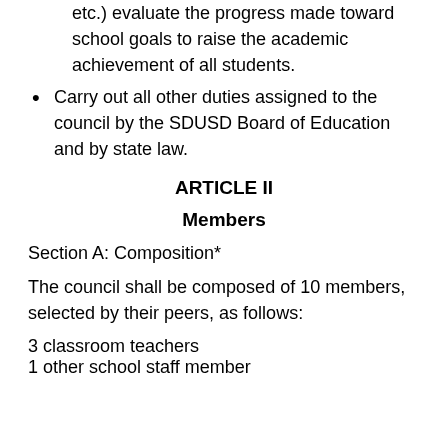etc.) evaluate the progress made toward school goals to raise the academic achievement of all students.
Carry out all other duties assigned to the council by the SDUSD Board of Education and by state law.
ARTICLE II
Members
Section A: Composition*
The council shall be composed of 10 members, selected by their peers, as follows:
3 classroom teachers
1 other school staff member